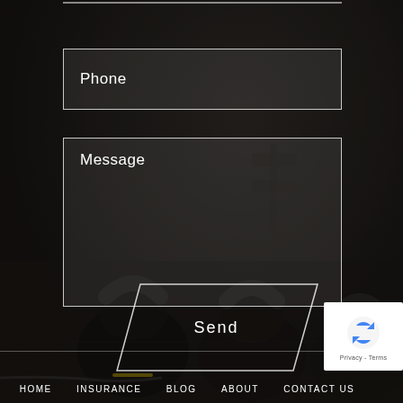[Figure (photo): Dark gym background with kettlebells on the floor, dim lighting]
Phone
Message
Send
[Figure (logo): Google reCAPTCHA badge with spinning arrows logo and Privacy - Terms text]
HOME   INSURANCE   BLOG   ABOUT   CONTACT US